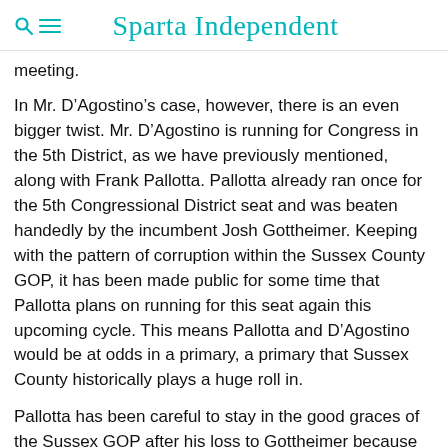Sparta Independent
meeting.
In Mr. D’Agostino’s case, however, there is an even bigger twist. Mr. D’Agostino is running for Congress in the 5th District, as we have previously mentioned, along with Frank Pallotta. Pallotta already ran once for the 5th Congressional District seat and was beaten handedly by the incumbent Josh Gottheimer. Keeping with the pattern of corruption within the Sussex County GOP, it has been made public for some time that Pallotta plans on running for this seat again this upcoming cycle. This means Pallotta and D’Agostino would be at odds in a primary, a primary that Sussex County historically plays a huge roll in.
Pallotta has been careful to stay in the good graces of the Sussex GOP after his loss to Gottheimer because